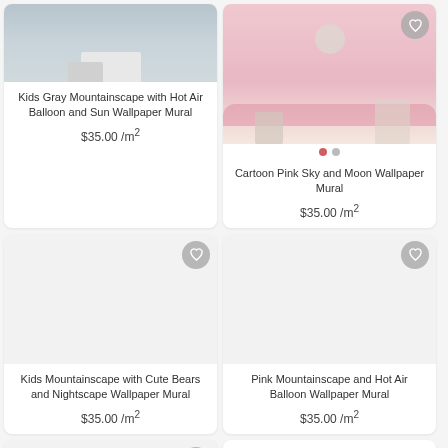[Figure (photo): Kids room with gray mountainscape wallpaper mural, round rug, white dresser]
Kids Gray Mountainscape with Hot Air Balloon and Sun Wallpaper Mural
$35.00 /m²
[Figure (photo): Cartoon pink sky and moon wallpaper mural in a kids bedroom]
Cartoon Pink Sky and Moon Wallpaper Mural
$35.00 /m²
[Figure (photo): Blank/loading image area for Kids Mountainscape with Cute Bears and Nightscape Wallpaper Mural]
Kids Mountainscape with Cute Bears and Nightscape Wallpaper Mural
$35.00 /m²
[Figure (photo): Blank/loading image area for Pink Mountainscape and Hot Air Balloon Wallpaper Mural]
Pink Mountainscape and Hot Air Balloon Wallpaper Mural
$35.00 /m²
[Figure (photo): Partial visible card bottom left with heart icon]
[Figure (photo): Partial visible card bottom right with heart icon]